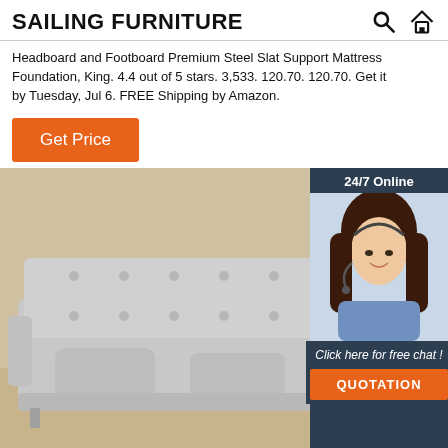SAILING FURNITURE
Headboard and Footboard Premium Steel Slat Support Mattress Foundation, King. 4.4 out of 5 stars. 3,533. 120.70. 120.70. Get it by Tuesday, Jul 6. FREE Shipping by Amazon.
Get Price
[Figure (photo): Customer service representative — a smiling woman with dark hair wearing a headset, shown from shoulders up against a white background. Overlaid on a dark navy panel with '24/7 Online' header and 'Click here for free chat!' and 'QUOTATION' button.]
[Figure (photo): A light grey tufted sofa/futon with two scatter cushions, photographed against a beige/tan wall, from a front-angled view.]